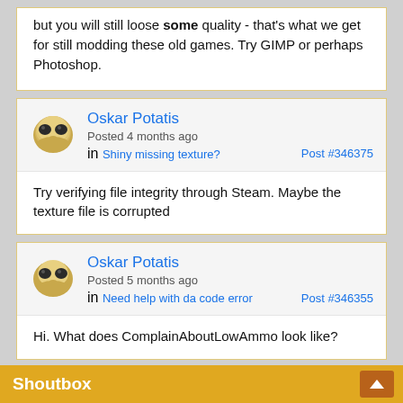but you will still loose some quality - that's what we get for still modding these old games. Try GIMP or perhaps Photoshop.
Oskar Potatis
Posted 4 months ago
in Shiny missing texture?
Post #346375
Try verifying file integrity through Steam. Maybe the texture file is corrupted
Oskar Potatis
Posted 5 months ago
in Need help with da code error
Post #346355
Hi. What does ComplainAboutLowAmmo look like?
Oskar Potatis
Posted 5 months ago
Shoutbox